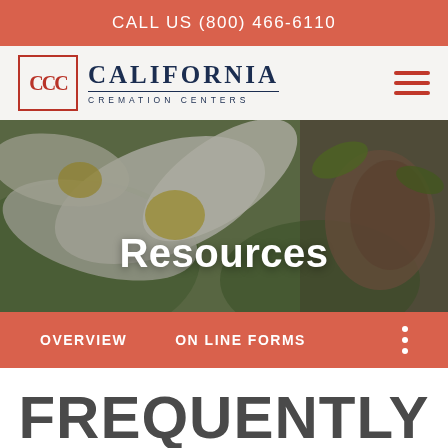CALL US (800) 466-6110
[Figure (logo): California Cremation Centers logo with CCC monogram in red border and company name in navy serif text]
[Figure (photo): Close-up of white and yellow flower petals with green leaves, used as hero banner background]
Resources
OVERVIEW   ON LINE FORMS
FREQUENTLY ASKED